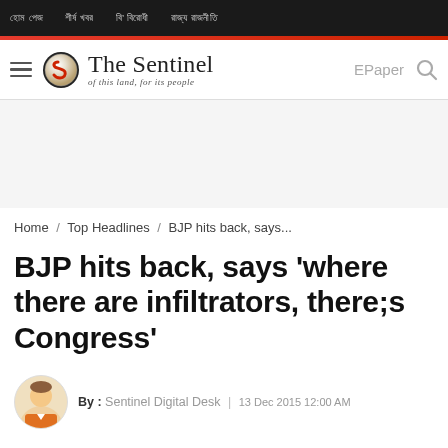The Sentinel – of this land, for its people
Home / Top Headlines / BJP hits back, says...
BJP hits back, says 'where there are infiltrators, there;s Congress'
By : Sentinel Digital Desk | 13 Dec 2015 12:00 AM